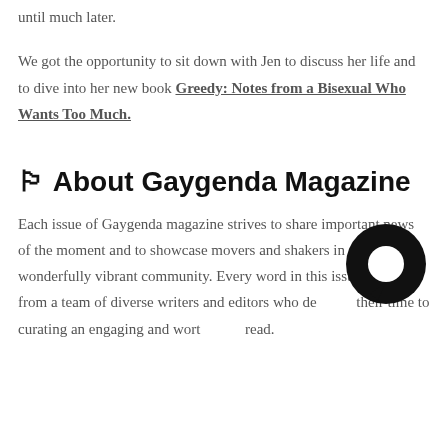until much later.
We got the opportunity to sit down with Jen to discuss her life and to dive into her new book Greedy: Notes from a Bisexual Who Wants Too Much.
🏳 About Gaygenda Magazine
Each issue of Gaygenda magazine strives to share important news of the moment and to showcase movers and shakers in our wonderfully vibrant community. Every word in this issue comes from a team of diverse writers and editors who dedicate their time to curating an engaging and worthwhile read.